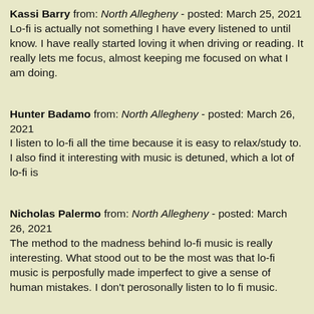Kassi Barry from: North Allegheny - posted: March 25, 2021
Lo-fi is actually not something I have every listened to until know. I have really started loving it when driving or reading. It really lets me focus, almost keeping me focused on what I am doing.
Hunter Badamo from: North Allegheny - posted: March 26, 2021
I listen to lo-fi all the time because it is easy to relax/study to. I also find it interesting with music is detuned, which a lot of lo-fi is
Nicholas Palermo from: North Allegheny - posted: March 26, 2021
The method to the madness behind lo-fi music is really interesting. What stood out to be the most was that lo-fi music is perposfully made imperfect to give a sense of human mistakes. I don't perosonally listen to lo fi music.